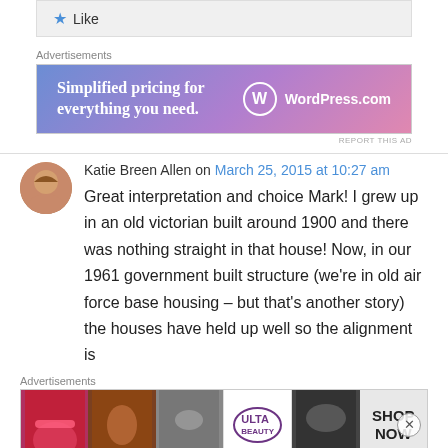[Figure (other): Like button bar with star icon]
Advertisements
[Figure (other): WordPress.com advertisement banner: Simplified pricing for everything you need.]
REPORT THIS AD
Katie Breen Allen on March 25, 2015 at 10:27 am
Great interpretation and choice Mark! I grew up in an old victorian built around 1900 and there was nothing straight in that house! Now, in our 1961 government built structure (we're in old air force base housing – but that's another story) the houses have held up well so the alignment is
Advertisements
[Figure (other): Ulta Beauty advertisement banner with makeup imagery and SHOP NOW call to action]